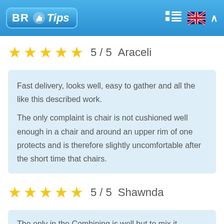BR Tips
5 / 5  Araceli
Fast delivery, looks well, easy to gather and all the like this described work.
The only complaint is chair is not cushioned well enough in a chair and around an upper rim of one protects and is therefore slightly uncomfortable after the short time that chairs.
5 / 5  Shawnda